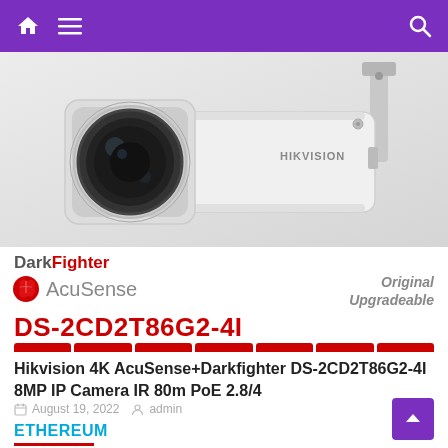Navigation bar with home, menu, and search icons
[Figure (photo): Hikvision bullet IP camera (white, cylindrical body with large lens), labeled HIKVISION on the barrel, with DarkFighter and AcuSense branding overlay, model DS-2CD2T86G2-4I in red text, and 'Original Upgradeable' text on the right side]
Hikvision 4K AcuSense+Darkfighter DS-2CD2T86G2-4I 8MP IP Camera IR 80m PoE 2.8/4
August 19, 2022   admin
ETHEREUM